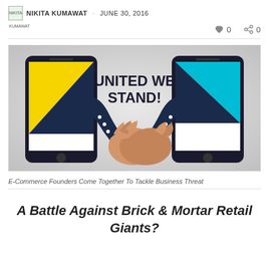NIKITA KUMAWAT · JUNE 30, 2016
[Figure (illustration): Illustration of two smartphones with suited arms shaking hands in the center, text reads UNITED WE STAND! on a grey gradient background]
E-Commerce Founders Come Together To Tackle Business Threat
A Battle Against Brick & Mortar Retail Giants?